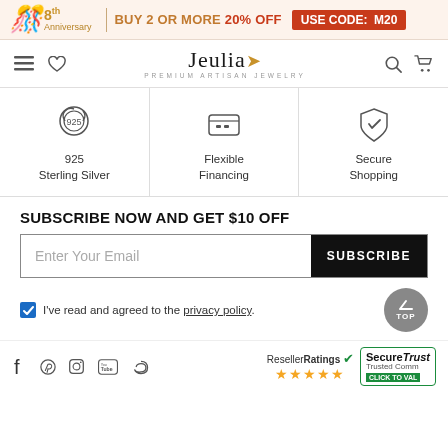8th Anniversary | BUY 2 OR MORE 20% OFF | USE CODE: M20
[Figure (logo): Jeulia Premium Artisan Jewelry logo with navigation icons]
[Figure (infographic): Three feature icons: 925 Sterling Silver, Flexible Financing, Secure Shopping]
SUBSCRIBE NOW AND GET $10 OFF
Enter Your Email | SUBSCRIBE
I've read and agreed to the privacy policy.
Social media icons: Facebook, Pinterest, Instagram, YouTube, Blogger | ResellerRatings 4 stars | SecureTrust Trusted Commerce CLICK TO VALIDATE